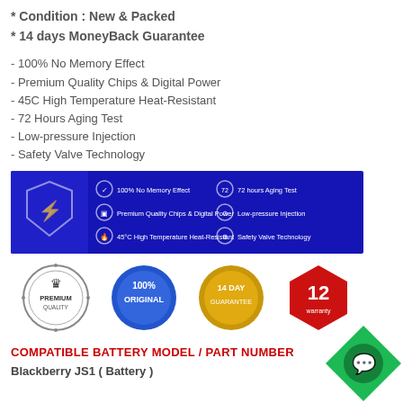* Condition : New & Packed
* 14 days MoneyBack Guarantee
- 100% No Memory Effect
- Premium Quality Chips & Digital Power
- 45C High Temperature Heat-Resistant
- 72 Hours Aging Test
- Low-pressure Injection
- Safety Valve Technology
[Figure (infographic): Blue banner showing 6 battery features with icons: 100% No Memory Effect, 72 hours Aging Test, Premium Quality Chips & Digital Power, Low-pressure Injection, 45C High Temperature Heat-Resistant, Safety Valve Technology]
[Figure (infographic): Four certification/quality badges: Premium Quality (circular emblem), 100% Original (blue seal), 14 Day Guarantee (gold seal), 12 warranty (red hexagon)]
COMPATIBLE BATTERY MODEL / PART NUMBER
Blackberry JS1 ( Battery )